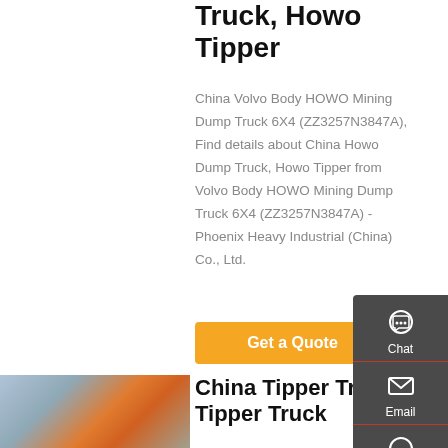Truck, Howo Tipper
China Volvo Body HOWO Mining Dump Truck 6X4 (ZZ3257N3847A), Find details about China Howo Dump Truck, Howo Tipper from Volvo Body HOWO Mining Dump Truck 6X4 (ZZ3257N3847A) - Phoenix Heavy Industrial (China) Co., Ltd.
Get a Quote
[Figure (photo): Photo of a building with orange trucks parked outside, appears to be a Chinese truck dealership or manufacturer showroom]
China Tipper Truck, Tipper Truck